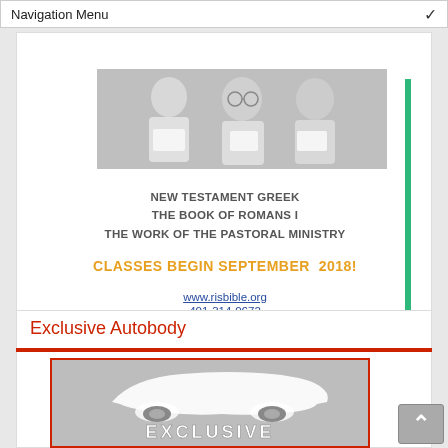Navigation Menu
[Figure (photo): Photo strip of people studying/reading books, part of a Bible school advertisement]
NEW TESTAMENT GREEK
THE BOOK OF ROMANS I
THE WORK OF THE PASTORAL MINISTRY
CLASSES BEGIN SEPTEMBER 2018!
www.risbible.org
401-314-0672
Exclusive Autobody
[Figure (logo): Exclusive Autobody logo: silver car silhouette above text EXCLUSIVE in silver 3D letters on gray background, bordered in red]